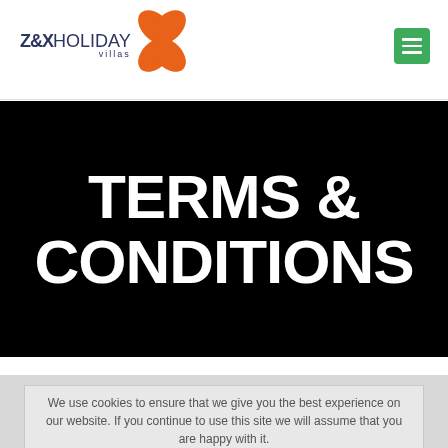[Figure (logo): Z&X Holiday Villas logo with orange flower/pinwheel graphic and dark blue text]
TERMS & CONDITIONS
We use cookies to ensure that we give you the best experience on our website. If you continue to use this site we will assume that you are happy with it.